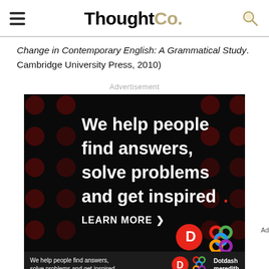ThoughtCo.
Change in Contemporary English: A Grammatical Study. Cambridge University Press, 2010)
Advertisement
[Figure (illustration): Dotdash Meredith advertisement with black background and dark red polka dots pattern. Large white bold text reads: 'We help people find answers, solve problems and get inspired.' with a red period. Below shows 'LEARN MORE' with a right arrow, a red circle with white 'D' logo, and a colorful interlocking rings Dotdash logo. Bottom bar shows smaller version of the ad text and logos with 'Dotdash meredith' branding.]